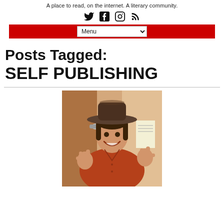A place to read, on the internet. A literary community.
[Figure (other): Social media icons: Twitter, Facebook, Instagram, RSS feed]
[Figure (other): Red navigation bar with a Menu dropdown selector]
Posts Tagged:
SELF PUBLISHING
[Figure (photo): A man wearing a cowboy hat and a red/orange button-up shirt, smiling and making rock-on hand gestures with both hands, standing in front of a door.]